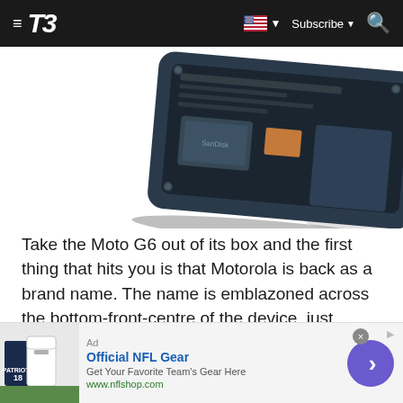T3 — Subscribe
[Figure (photo): Disassembled or back view of Moto G6 smartphone showing internal components and circuit board, viewed at an angle against white background]
Take the Moto G6 out of its box and the first thing that hits you is that Motorola is back as a brand name. The name is emblazoned across the bottom-front-centre of the device, just above the phone's fingerprint reader, and while ideally I like my handset to be as clean and non-adverty as possible, it does look quite classy here.
The next thing you notice is that the G6 is, for a phone at this price point, stunningly wrapped both front and back in glass
[Figure (other): Advertisement for Official NFL Gear from nflshop.com showing sports jerseys and a purple circular arrow button]